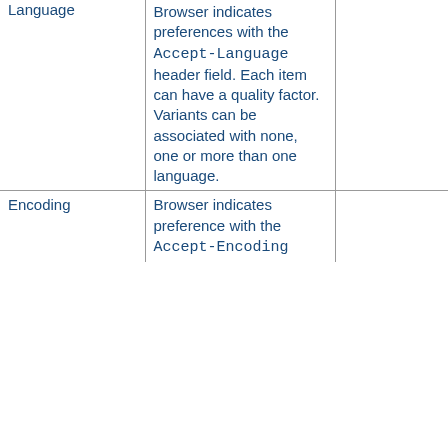| Language | Browser indicates preferences with the Accept-Language header field. Each item can have a quality factor. Variants can be associated with none, one or more than one language. |  |
| Encoding | Browser indicates preference with the Accept-Encoding |  |